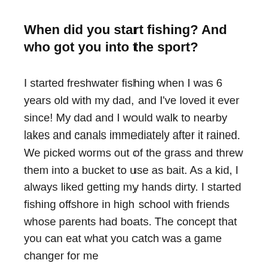When did you start fishing? And who got you into the sport?
I started freshwater fishing when I was 6 years old with my dad, and I've loved it ever since! My dad and I would walk to nearby lakes and canals immediately after it rained. We picked worms out of the grass and threw them into a bucket to use as bait. As a kid, I always liked getting my hands dirty. I started fishing offshore in high school with friends whose parents had boats. The concept that you can eat what you catch was a game changer for me